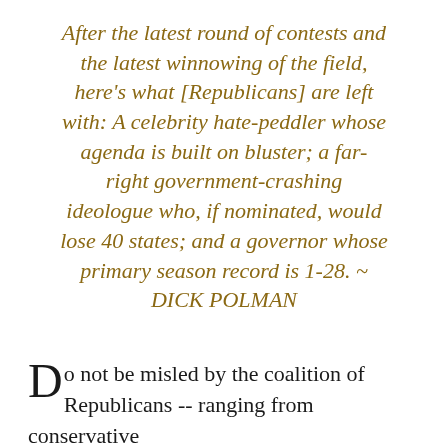After the latest round of contests and the latest winnowing of the field, here's what [Republicans] are left with: A celebrity hate-peddler whose agenda is built on bluster; a far-right government-crashing ideologue who, if nominated, would lose 40 states; and a governor whose primary season record is 1-28. ~ DICK POLMAN
Do not be misled by the coalition of Republicans -- ranging from conservative